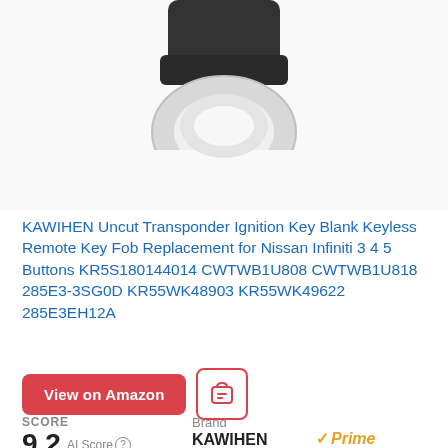[Figure (photo): Product photo of a KAWIHEN car key fob / transponder ignition key, showing the back of the key with a silver ring/loop and dark key body, viewed from above on a white background. Only the bottom portion of the key is visible.]
KAWIHEN Uncut Transponder Ignition Key Blank Keyless Remote Key Fob Replacement for Nissan Infiniti 3 4 5 Buttons KR5S180144014 CWTWB1U808 CWTWB1U818 285E3-3SG0D KR55WK48903 KR55WK49622 285E3EH12A
View on Amazon
SCORE 9.2 AI Score  Brand KAWIHEN Prime